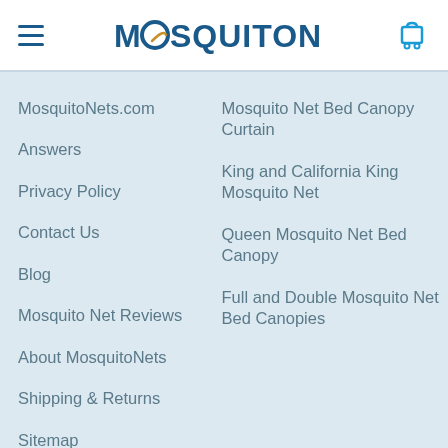MOSQUITONETS
MosquitoNets.com
Answers
Privacy Policy
Contact Us
Blog
Mosquito Net Reviews
About MosquitoNets
Shipping & Returns
Sitemap
Mosquito Net Bed Canopy Curtain
King and California King Mosquito Net
Queen Mosquito Net Bed Canopy
Full and Double Mosquito Net Bed Canopies
Quality Guaranteed